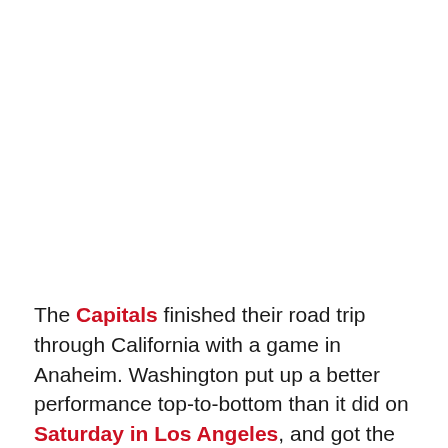The Capitals finished their road trip through California with a game in Anaheim. Washington put up a better performance top-to-bottom than it did on Saturday in Los Angeles, and got the result to match — two points.